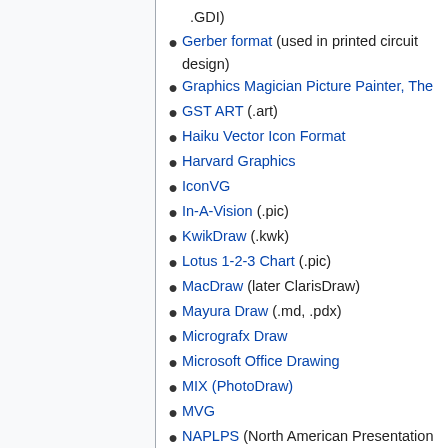.GDI)
Gerber format (used in printed circuit design)
Graphics Magician Picture Painter, The
GST ART (.art)
Haiku Vector Icon Format
Harvard Graphics
IconVG
In-A-Vision (.pic)
KwikDraw (.kwk)
Lotus 1-2-3 Chart (.pic)
MacDraw (later ClarisDraw)
Mayura Draw (.md, .pdx)
Micrografx Draw
Microsoft Office Drawing
MIX (PhotoDraw)
MVG
NAPLPS (North American Presentation Layer Protocol Syntax)
NeoDraw
Notability
OpenDocument Drawing (.odg)